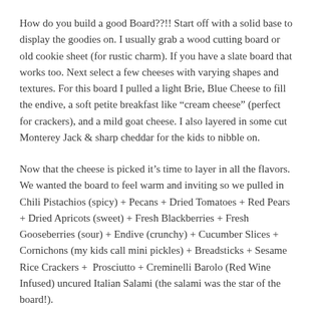How do you build a good Board??!! Start off with a solid base to display the goodies on. I usually grab a wood cutting board or old cookie sheet (for rustic charm). If you have a slate board that works too. Next select a few cheeses with varying shapes and textures. For this board I pulled a light Brie, Blue Cheese to fill the endive, a soft petite breakfast like "cream cheese" (perfect for crackers), and a mild goat cheese. I also layered in some cut Monterey Jack & sharp cheddar for the kids to nibble on.
Now that the cheese is picked it's time to layer in all the flavors. We wanted the board to feel warm and inviting so we pulled in Chili Pistachios (spicy) + Pecans + Dried Tomatoes + Red Pears + Dried Apricots (sweet) + Fresh Blackberries + Fresh Gooseberries (sour) + Endive (crunchy) + Cucumber Slices + Cornichons (my kids call mini pickles) + Breadsticks + Sesame Rice Crackers +  Prosciutto + Creminelli Barolo (Red Wine Infused) uncured Italian Salami (the salami was the star of the board!).